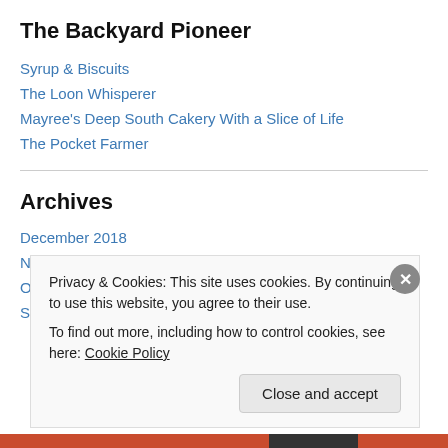The Backyard Pioneer
Syrup & Biscuits
The Loon Whisperer
Mayree's Deep South Cakery With a Slice of Life
The Pocket Farmer
Archives
December 2018
November 2018
October 2018
September 2018
Privacy & Cookies: This site uses cookies. By continuing to use this website, you agree to their use.
To find out more, including how to control cookies, see here: Cookie Policy
Close and accept